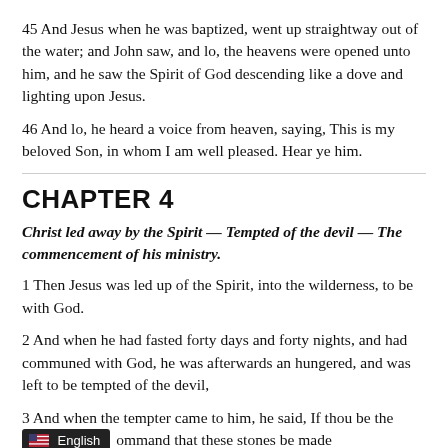45 And Jesus when he was baptized, went up straightway out of the water; and John saw, and lo, the heavens were opened unto him, and he saw the Spirit of God descending like a dove and lighting upon Jesus.
46 And lo, he heard a voice from heaven, saying, This is my beloved Son, in whom I am well pleased. Hear ye him.
CHAPTER 4
Christ led away by the Spirit — Tempted of the devil — The commencement of his ministry.
1 Then Jesus was led up of the Spirit, into the wilderness, to be with God.
2 And when he had fasted forty days and forty nights, and had communed with God, he was afterwards an hungered, and was left to be tempted of the devil,
3 And when the tempter came to him, he said, If thou be the Son of God, command that these stones be made bread.